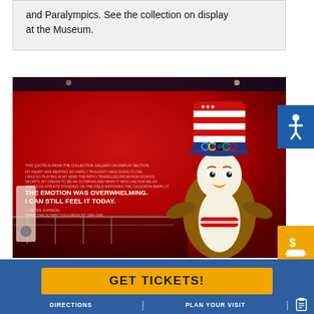and Paralympics. See the collection on display at the Museum.
[Figure (photo): Museum interior with a large red wall display featuring a quote 'THE EMOTION WAS OVERWHELMING. I CAN STILL FEEL IT TODAY.' and an eagle mascot character wearing a top hat with Olympic rings and a patriotic costume.]
GET TICKETS!
DIRECTIONS | PLAN YOUR VISIT | [icon]